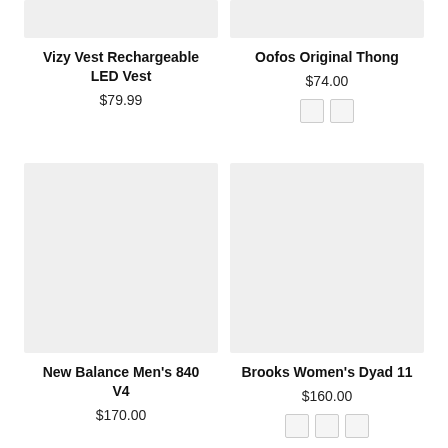[Figure (photo): Product image placeholder for Vizy Vest Rechargeable LED Vest (light gray rectangle, top cropped)]
Vizy Vest Rechargeable LED Vest
$79.99
[Figure (photo): Product image placeholder for Oofos Original Thong (light gray rectangle, top cropped)]
Oofos Original Thong
$74.00
[Figure (photo): Color swatches for Oofos Original Thong: two white/light swatches]
[Figure (photo): Product image placeholder for New Balance Men's 840 V4 (large light gray rectangle)]
New Balance Men's 840 V4
$170.00
[Figure (photo): Product image placeholder for Brooks Women's Dyad 11 (large light gray rectangle)]
Brooks Women's Dyad 11
$160.00
[Figure (other): Color swatches for Brooks Women's Dyad 11: three light swatches]